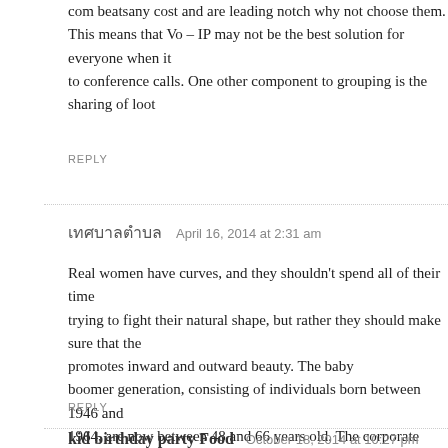com beatsany cost and are leading notch why not choose them. This means that Vo – IP may not be the best solution for everyone when it to conference calls. One other component to grouping is the sharing of loot
REPLY
เทศบาลตำบล   April 16, 2014 at 2:31 am
Real women have curves, and they shouldn't spend all of their time trying to fight their natural shape, but rather they should make sure that the promotes inward and outward beauty. The baby boomer generation, consisting of individuals born between 1946 and 1964, are now between 48 and 66 years old. The corporate attire suits most while they are able to maintain their individuality.
REPLY
kid birthday party Food   October 18, 2014 at 10:27 pm
Then you can compare image drawn by the first and last person the variatio